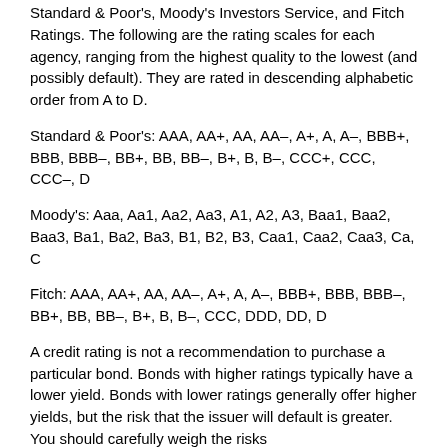Standard & Poor's, Moody's Investors Service, and Fitch Ratings. The following are the rating scales for each agency, ranging from the highest quality to the lowest (and possibly default). They are rated in descending alphabetic order from A to D.
Standard & Poor's: AAA, AA+, AA, AA–, A+, A, A–, BBB+, BBB, BBB–, BB+, BB, BB–, B+, B, B–, CCC+, CCC, CCC–, D
Moody's: Aaa, Aa1, Aa2, Aa3, A1, A2, A3, Baa1, Baa2, Baa3, Ba1, Ba2, Ba3, B1, B2, B3, Caa1, Caa2, Caa3, Ca, C
Fitch: AAA, AA+, AA, AA–, A+, A, A–, BBB+, BBB, BBB–, BB+, BB, BB–, B+, B, B–, CCC, DDD, DD, D
A credit rating is not a recommendation to purchase a particular bond. Bonds with higher ratings typically have a lower yield. Bonds with lower ratings generally offer higher yields, but the risk that the issuer will default is greater. You should carefully weigh the risks